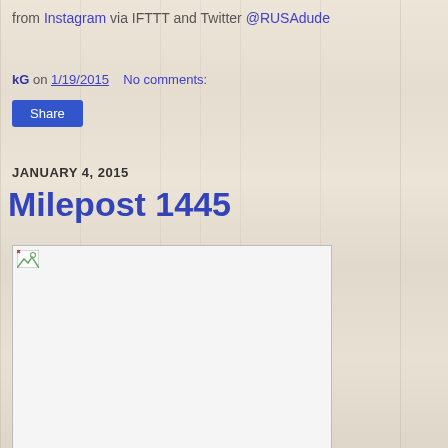from Instagram via IFTTT and Twitter @RUSAdude
kG on 1/19/2015    No comments:
Share
JANUARY 4, 2015
Milepost 1445
[Figure (photo): Broken image placeholder with small image icon in top-left corner]